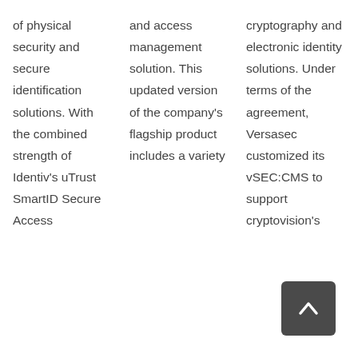of physical security and secure identification solutions. With the combined strength of Identiv's uTrust SmartID Secure Access
and access management solution. This updated version of the company's flagship product includes a variety
cryptography and electronic identity solutions. Under terms of the agreement, Versasec customized its vSEC:CMS to support cryptovision's
[Figure (other): Back to top button — dark grey rounded square with white upward-pointing chevron arrow]